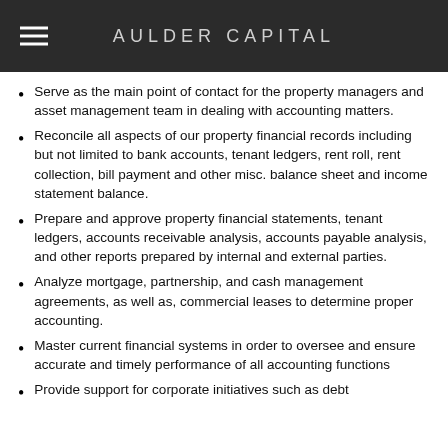AULDER CAPITAL
Serve as the main point of contact for the property managers and asset management team in dealing with accounting matters.
Reconcile all aspects of our property financial records including but not limited to bank accounts, tenant ledgers, rent roll, rent collection, bill payment and other misc. balance sheet and income statement balance.
Prepare and approve property financial statements, tenant ledgers, accounts receivable analysis, accounts payable analysis, and other reports prepared by internal and external parties.
Analyze mortgage, partnership, and cash management agreements, as well as, commercial leases to determine proper accounting.
Master current financial systems in order to oversee and ensure accurate and timely performance of all accounting functions
Provide support for corporate initiatives such as debt